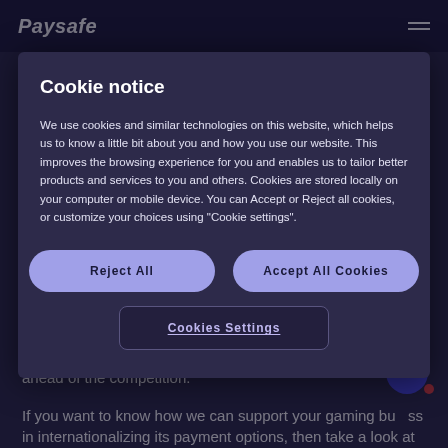Paysafe
Cookie notice
We use cookies and similar technologies on this website, which helps us to know a little bit about you and how you use our website. This improves the browsing experience for you and enables us to tailor better products and services to you and others. Cookies are stored locally on your computer or mobile device. You can Accept or Reject all cookies, or customize your choices using "Cookie settings".
Reject All
Accept All Cookies
Cookies Settings
business has all the tools at its disposal to expand and stay ahead of the competition.
If you want to know how we can support your gaming business in internationalizing its payment options, then take a look at